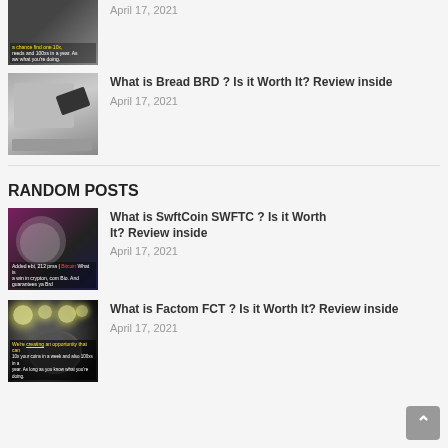[Figure (photo): Thumbnail image with text overlay, partially cropped at top]
April 17, 2021
[Figure (photo): Thumbnail of cryptocurrency mining hardware (ASIC miner)]
What is Bread BRD ? Is it Worth It? Review inside
April 17, 2021
RANDOM POSTS
[Figure (photo): Thumbnail of older man smiling, cryptocurrency chart background]
What is SwftCoin SWFTC ? Is it Worth It? Review inside
April 17, 2021
[Figure (photo): Thumbnail with glowing lights and dark background, text overlay]
What is Factom FCT ? Is it Worth It? Review inside
April 17, 2021